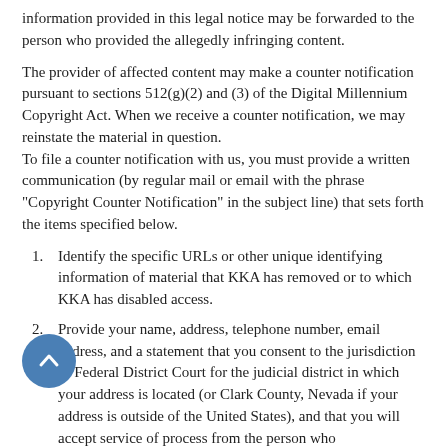information provided in this legal notice may be forwarded to the person who provided the allegedly infringing content.
The provider of affected content may make a counter notification pursuant to sections 512(g)(2) and (3) of the Digital Millennium Copyright Act. When we receive a counter notification, we may reinstate the material in question.
To file a counter notification with us, you must provide a written communication (by regular mail or email with the phrase "Copyright Counter Notification" in the subject line) that sets forth the items specified below.
Identify the specific URLs or other unique identifying information of material that KKA has removed or to which KKA has disabled access.
Provide your name, address, telephone number, email address, and a statement that you consent to the jurisdiction of Federal District Court for the judicial district in which your address is located (or Clark County, Nevada if your address is outside of the United States), and that you will accept service of process from the person who provided notification under subsection (c)(1)(C) or agent of such person.
Include the following statement: "I swear, under penalty of perjury, that I have a good